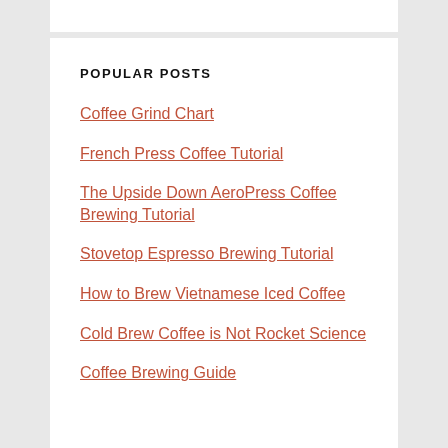POPULAR POSTS
Coffee Grind Chart
French Press Coffee Tutorial
The Upside Down AeroPress Coffee Brewing Tutorial
Stovetop Espresso Brewing Tutorial
How to Brew Vietnamese Iced Coffee
Cold Brew Coffee is Not Rocket Science
Coffee Brewing Guide